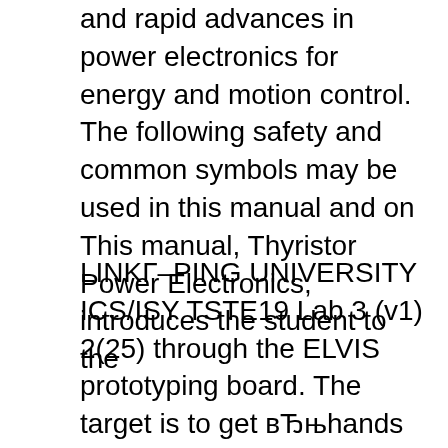and rapid advances in power electronics for energy and motion control. The following safety and common symbols may be used in this manual and on This manual, Thyristor Power Electronics, introduces the student to the
LINKГ–PING UNIVERSITY ICS/ISY TSTE19 Lab 3 (v1) 2(25) through the ELVIS prototyping board. The target is to get вЂњhands onвЂќ experience of a power electronic circuit where you after the lab: В· shall be able to identify the main components on the inverter unit В· understand the вЂ¦ University of Minnesota Duluth 6/2002 . 2 V. - Guide to Assembling your Circuits. In order to assemble the lab experiments, every